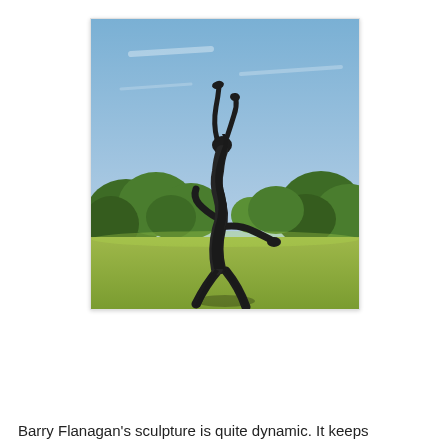[Figure (photo): Outdoor photograph of a tall bronze sculpture by Barry Flanagan depicting a dancing hare in a dynamic pose, with elongated limbs and rabbit ears, set against a blue sky with green trees and a grass lawn in the background.]
Barry Flanagan's sculpture is quite dynamic. It keeps